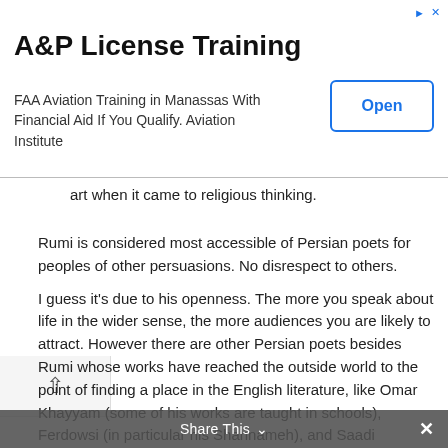[Figure (screenshot): Advertisement banner for A&P License Training — FAA Aviation Training in Manassas With Financial Aid If You Qualify. Aviation Institute. With an 'Open' button on the right.]
art when it came to religious thinking.
Rumi is considered most accessible of Persian poets for peoples of other persuasions. No disrespect to others.
I guess it's due to his openness. The more you speak about life in the wider sense, the more audiences you are likely to attract. However there are other Persian poets besides Rumi whose works have reached the outside world to the point of finding a place in the English literature, like Omar Khayyam (some of his works are taught in schools), Ferdowsi (in particular his Shahnameh), and Saadi (specially his Children of Adam, quoted worldwide and inscribed at the United Nations entrance hall). Persian literature is surely considered one of the major contributions to world literature, and that is not only due to Rumi… even Hafiz, Nezami and Attar I think have reached audiences outside Iran. Today we witness also Simin Behbahani, the 85-year-old living poetess whose works are reaching the world, especially the West, and she is being
Share This